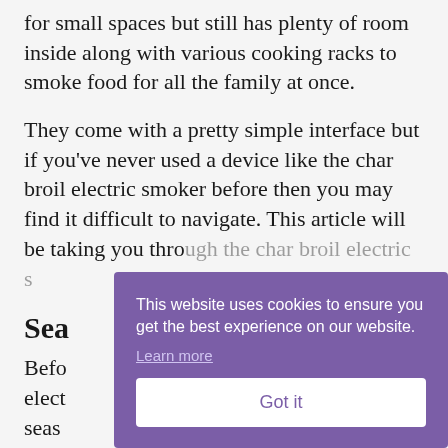for small spaces but still has plenty of room inside along with various cooking racks to smoke food for all the family at once.
They come with a pretty simple interface but if you've never used a device like the char broil electric smoker before then you may find it difficult to navigate. This article will be taking you thro...
Sea...
Befo... elect... seas...
This website uses cookies to ensure you get the best experience on our website.
Learn more
Got it